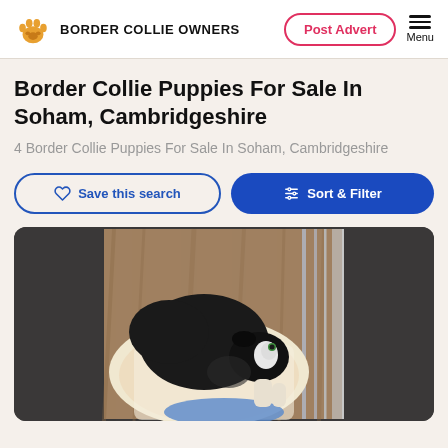BORDER COLLIE OWNERS
Border Collie Puppies For Sale In Soham, Cambridgeshire
4 Border Collie Puppies For Sale In Soham, Cambridgeshire
Save this search
Sort & Filter
[Figure (photo): Photo of Border Collie puppies lying on a patterned blanket inside a metal cage/pen]